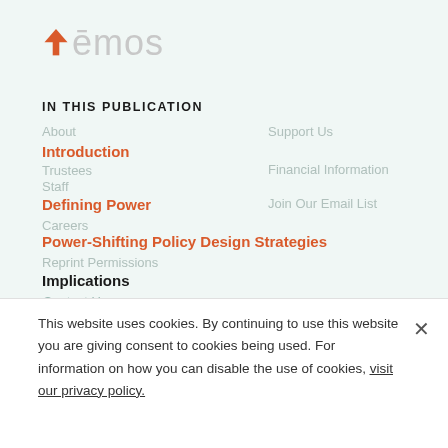[Figure (logo): Demos organization logo with orange upward arrow and grey text]
IN THIS PUBLICATION
About
Introduction
Trustees
Staff
Defining Power
Careers
Power-Shifting Policy Design Strategies
Reprint Permissions
Implications
Contact Us
General Inquiries
Support Us
Financial Information
Join Our Email List
This website uses cookies. By continuing to use this website you are giving consent to cookies being used. For information on how you can disable the use of cookies, visit our privacy policy.